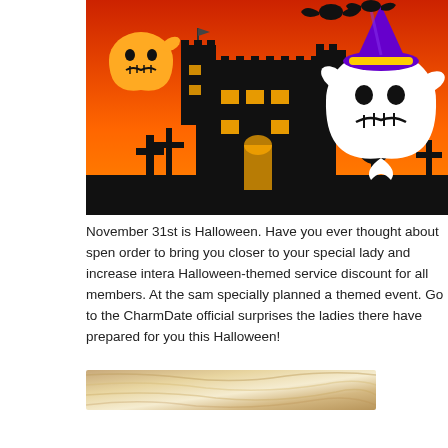[Figure (illustration): Halloween illustration showing a haunted castle silhouette in black against an orange/red sky, with a ghost wearing a purple witch hat on the right, an orange ghost on the left, bats at the top, and graveyard crosses in the foreground. The scene is cropped from the right half of the original image.]
November 31st is Halloween. Have you ever thought about spen order to bring you closer to your special lady and increase intera Halloween-themed service discount for all members. At the sam specially planned a themed event. Go to the CharmDate official surprises the ladies there have prepared for you this Halloween!
[Figure (photo): Partial photo showing a blonde woman, cropped to show only hair/head portion, golden/tan tones.]